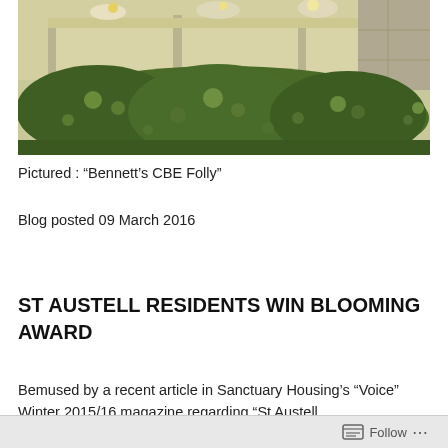[Figure (photo): Outdoor photo showing trimmed green hedges/shrubs in front of a cream/beige wall with raised flower beds visible at top. Paved area visible at top right.]
Pictured : “Bennett’s CBE Folly”
Blog posted 09 March 2016
ST AUSTELL RESIDENTS WIN BLOOMING AWARD
Bemused by a recent article in Sanctuary Housing’s “Voice” Winter 2015/16 magazine regarding “St Austell
Follow ...